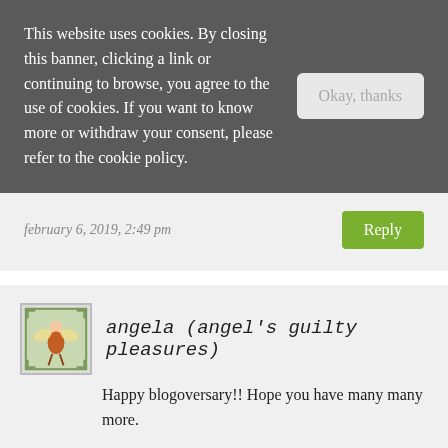This website uses cookies. By closing this banner, clicking a link or continuing to browse, you agree to the use of cookies. If you want to know more or withdraw your consent, please refer to the cookie policy.
Okay, thanks
february 6, 2019, 2:49 pm
Reply
angela (angel's guilty pleasures)
Happy blogoversary!! Hope you have many many more.
january 31, 2019, 10:16 pm
Reply
nicole @ feed your fiction